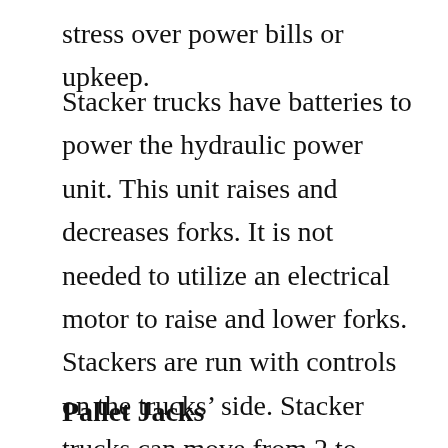stress over power bills or upkeep.
Stacker trucks have batteries to power the hydraulic power unit. This unit raises and decreases forks. It is not needed to utilize an electrical motor to raise and lower forks. Stackers are run with controls on the trucks’ side. Stacker trucks can move from 2 to twenty-six miles per hour, depending on the load and area being served. With the best settings, stackers can move fast and save important time.
Pallet Jacks